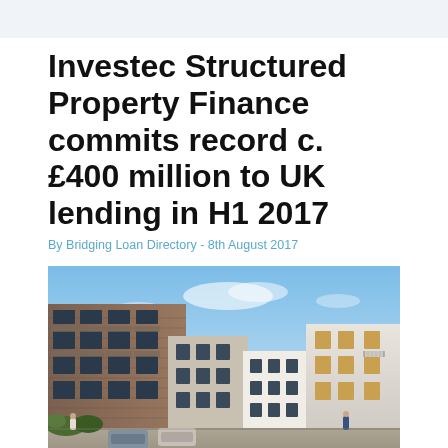Investec Structured Property Finance commits record c. £400 million to UK lending in H1 2017
By Bridging Loan Directory - 8th August 2017
[Figure (photo): Architectural rendering of a modern UK residential development showing multi-storey apartment buildings with brick and render facades, balconies, large windows, parked cars, and people walking in a courtyard under a blue sky.]